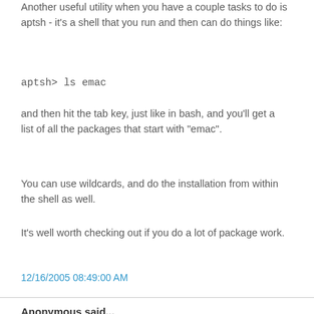Another useful utility when you have a couple tasks to do is aptsh - it's a shell that you run and then can do things like:
aptsh> ls emac
and then hit the tab key, just like in bash, and you'll get a list of all the packages that start with "emac".
You can use wildcards, and do the installation from within the shell as well.
It's well worth checking out if you do a lot of package work.
12/16/2005 08:49:00 AM
Anonymous said...
I find that ...
# dpkg-reconfigure packagename
...is useful at times. Many a time I have had to use:
# dpkg-reconfigure xserver-xfree86